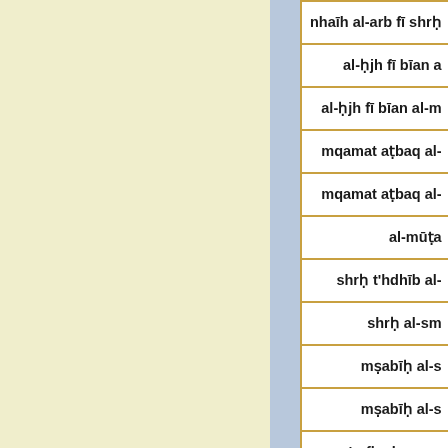| nhaīh al-arb fī shrḥ |
| al-ḥjh fī bīan a |
| al-ḥjh fī bīan al-m |
| mqamat aṭbaq al- |
| mqamat aṭbaq al- |
| al-mūṭa |
| shrḥ t'hdhīb al- |
| shrḥ al-sm |
| mṣabīḥ al-s |
| mṣabīḥ al-s |
| m'arfh al-snn w |
| al-ūrqat fī aṣūl al- |
| al-ūrqat fī aṣūl al- |